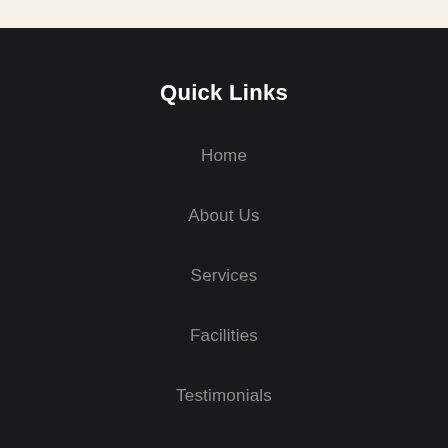Quick Links
Home
About Us
Services
Facilities
Testimonials
Gallery
Contact Us
Contact Info
Email Address